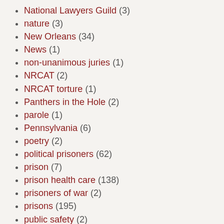National Lawyers Guild (3)
nature (3)
New Orleans (34)
News (1)
non-unanimous juries (1)
NRCAT (2)
NRCAT torture (1)
Panthers in the Hole (2)
parole (1)
Pennsylvania (6)
poetry (2)
political prisoners (62)
prison (7)
prison health care (138)
prisoners of war (2)
prisons (195)
public safety (2)
racism (173)
Raphael Sperry (1)
recidivism (1)